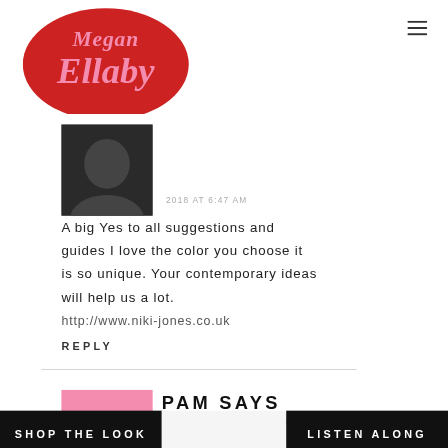[Figure (logo): Megan Ellaby blog logo — pink retro script on red bubble background]
2018 AT 6:47 AM
[Figure (photo): Dark avatar photo of a person]
A big Yes to all suggestions and guides I love the color you choose it is so unique. Your contemporary ideas will help us a lot.
http://www.niki-jones.co.uk
REPLY
PAM SAYS
MAY 27, 2018 AT 10:36 PM
SHOP THE LOOK    LISTEN ALONG